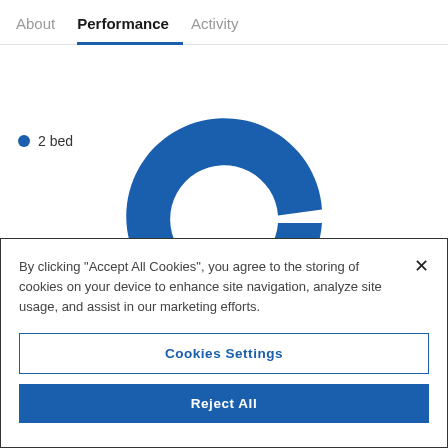About  Performance  Activity
[Figure (donut-chart): A nearly complete donut chart in dark blue, representing '2 bed' category. The ring covers most of the circle with a small gap near the right side.]
2 bed
By clicking "Accept All Cookies", you agree to the storing of cookies on your device to enhance site navigation, analyze site usage, and assist in our marketing efforts.
Cookies Settings
Reject All